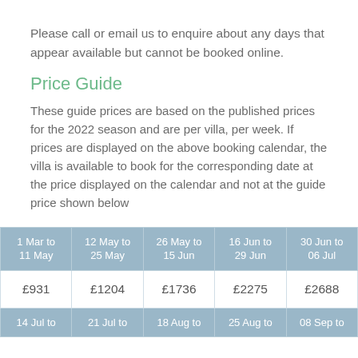Please call or email us to enquire about any days that appear available but cannot be booked online.
Price Guide
These guide prices are based on the published prices for the 2022 season and are per villa, per week. If prices are displayed on the above booking calendar, the villa is available to book for the corresponding date at the price displayed on the calendar and not at the guide price shown below
| 1 Mar to 11 May | 12 May to 25 May | 26 May to 15 Jun | 16 Jun to 29 Jun | 30 Jun to 06 Jul |
| --- | --- | --- | --- | --- |
| £931 | £1204 | £1736 | £2275 | £2688 |
| 14 Jul to ... | 21 Jul to ... | 18 Aug to ... | 25 Aug to ... | 08 Sep to ... |
| --- | --- | --- | --- | --- |